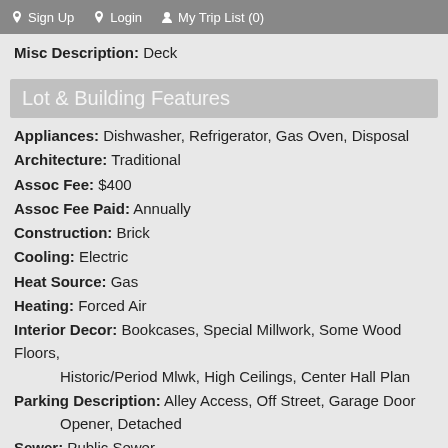Sign Up   Login   My Trip List (0)
Misc Description: Deck
Lot & Building Features
Appliances: Dishwasher, Refrigerator, Gas Oven, Disposal
Architecture: Traditional
Assoc Fee: $400
Assoc Fee Paid: Annually
Construction: Brick
Cooling: Electric
Heat Source: Gas
Heating: Forced Air
Interior Decor: Bookcases, Special Millwork, Some Wood Floors, Historic/Period Mlwk, High Ceilings, Center Hall Plan
Parking Description: Alley Access, Off Street, Garage Door Opener, Detached
Sewer: Public Sewer